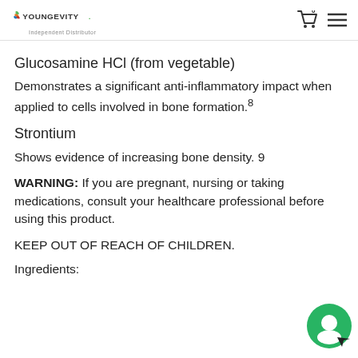YOUNGEVITY Independent Distributor
Glucosamine HCl (from vegetable)
Demonstrates a significant anti-inflammatory impact when applied to cells involved in bone formation.8
Strontium
Shows evidence of increasing bone density. 9
WARNING: If you are pregnant, nursing or taking medications, consult your healthcare professional before using this product.
KEEP OUT OF REACH OF CHILDREN.
Ingredients: